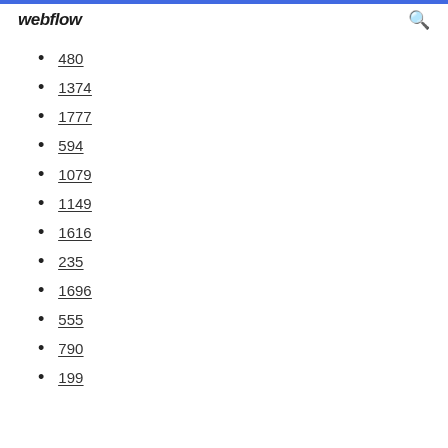webflow
480
1374
1777
594
1079
1149
1616
235
1696
555
790
199